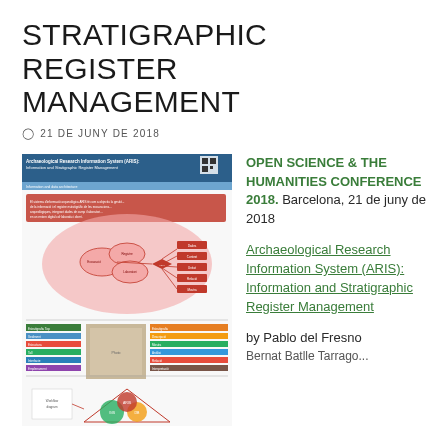STRATIGRAPHIC REGISTER MANAGEMENT
21 DE JUNY DE 2018
[Figure (poster): Conference poster for Archaeological Research Information System (ARIS): Information and Stratigraphic Register Management, showing diagrams, flowcharts, and data visualizations]
OPEN SCIENCE & THE HUMANITIES CONFERENCE 2018. Barcelona, 21 de juny de 2018
Archaeological Research Information System (ARIS): Information and Stratigraphic Register Management
by Pablo del Fresno